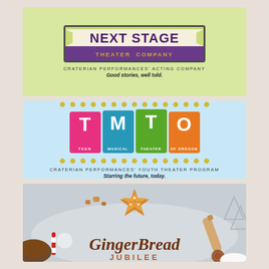[Figure (logo): Next Stage Theater Company logo on green background. Large purple text 'NEXT STAGE' in white banner, purple banner below with gold text 'THEATER COMPANY'. Below: 'CRATERIAN PERFORMANCES' ACTING COMPANY' and italic bold tagline 'Good stories, well told.']
[Figure (logo): TMTO (Teen Musical Theater of Oregon) logo on light blue background. Four colored letter boxes: T (pink/magenta), M (teal/blue), T (green), O (orange), with small label words TEEN, MUSICAL, THEATER, OF OREGON. Below: 'CRATERIAN PERFORMANCES' YOUTH THEATER PROGRAM' and italic bold tagline 'Starring the future, today.']
[Figure (illustration): GingerBread Jubilee promotional image. Holiday baking scene with gingerbread star cookie at top, baking ingredients and decorations. Large italic brown text 'GingerBread' and orange letter-spaced text 'JUBILEE'.]